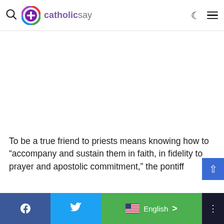catholicsay
[Figure (other): Blank white advertisement/image placeholder area]
To be a true friend to priests means knowing how to “accompany and sustain them in faith, in fidelity to prayer and apostolic commitment,” the pontiff said…
Facebook | Twitter | English | more